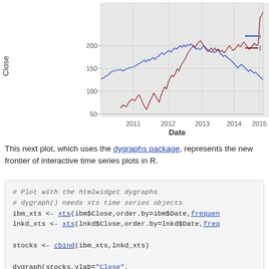[Figure (line-chart): IBM and LinkedIn Closing Stock Prices]
This next plot, which uses the dygraphs package, represents the new frontier of interactive time series plots in R.
# Plot with the htmlwidget dygraphs
# dygraph() needs xts time series objects
ibm_xts <- xts(ibm$Close,order.by=ibm$Date,frequen...
lnkd_xts <- xts(lnkd$Close,order.by=lnkd$Date,freq...

stocks <- cbind(ibm_xts,lnkd_xts)

dygraph(stocks,ylab="Close",
        main="IBM and Linkedin Closing Stock Prices...
  dySeries("..1",label="IBM") %>%